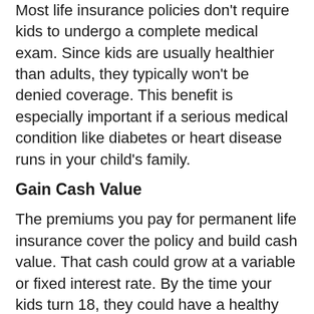Most life insurance policies don't require kids to undergo a complete medical exam. Since kids are usually healthier than adults, they typically won't be denied coverage. This benefit is especially important if a serious medical condition like diabetes or heart disease runs in your child's family.
Gain Cash Value
The premiums you pay for permanent life insurance cover the policy and build cash value. That cash could grow at a variable or fixed interest rate. By the time your kids turn 18, they could have a healthy accumulation of cash to pay for college, buy a house or save until they retire.